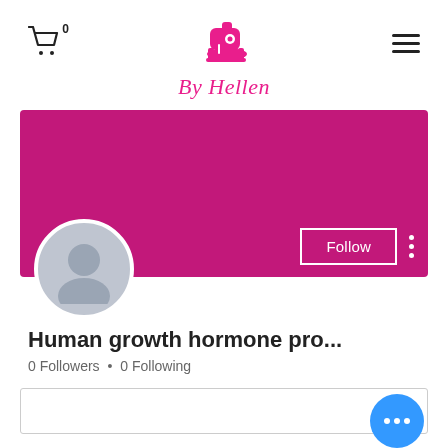By Hellen
[Figure (screenshot): User profile page for 'Human growth hormone pro...' on the By Hellen platform. Shows a magenta/pink banner, a gray default avatar, a Follow button, a three-dot menu, 0 Followers and 0 Following stats, and a search/filter box at the bottom with a blue chat FAB button.]